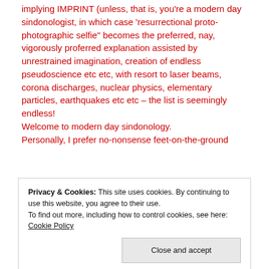implying IMPRINT (unless, that is, you're a modern day sindonologist, in which case 'resurrectional proto-photographic selfie" becomes the preferred, nay, vigorously proferred explanation assisted by unrestrained imagination, creation of endless pseudoscience etc etc, with resort to laser beams, corona discharges, nuclear physics, elementary particles, earthquakes etc etc – the list is seemingly endless! Welcome to modern day sindonology. Personally, I prefer no-nonsense feet-on-the-ground
Privacy & Cookies: This site uses cookies. By continuing to use this website, you agree to their use. To find out more, including how to control cookies, see here: Cookie Policy
controversy, and simply want to know what's new in this